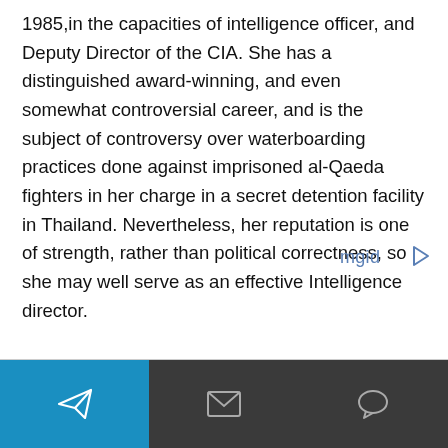1985,in the capacities of intelligence officer, and Deputy Director of the CIA. She has a distinguished award-winning, and even somewhat controversial career, and is the subject of controversy over waterboarding practices done against imprisoned al-Qaeda fighters in her charge in a secret detention facility in Thailand. Nevertheless, her reputation is one of strength, rather than political correctness, so she may well serve as an effective Intelligence director.
[Figure (logo): mgid logo with play button icon in blue/teal colors]
Navigation bar with send, mail, and chat icons